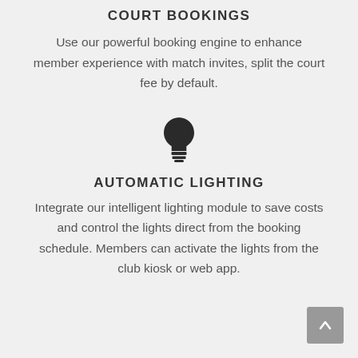COURT BOOKINGS
Use our powerful booking engine to enhance member experience with match invites, split the court fee by default.
[Figure (illustration): Light bulb icon in dark/black color, centered on the page.]
AUTOMATIC LIGHTING
Integrate our intelligent lighting module to save costs and control the lights direct from the booking schedule. Members can activate the lights from the club kiosk or web app.